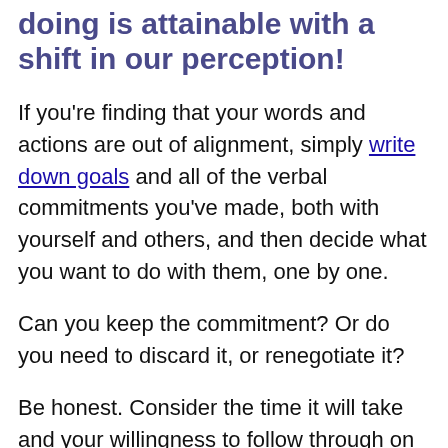doing is attainable with a shift in our perception!
If you're finding that your words and actions are out of alignment, simply write down goals and all of the verbal commitments you've made, both with yourself and others, and then decide what you want to do with them, one by one.
Can you keep the commitment? Or do you need to discard it, or renegotiate it?
Be honest. Consider the time it will take and your willingness to follow through on what you think you